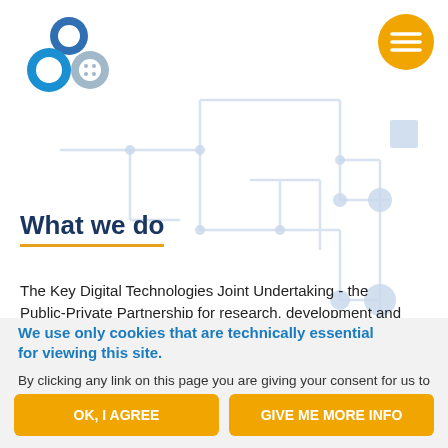[Figure (logo): KDT Joint Undertaking logo — three overlapping circles in blue and grey]
[Figure (infographic): Orange circle with hamburger/menu lines icon, top right]
[Figure (illustration): Light blue circuit board / network diagram background graphic]
What we do
The Key Digital Technologies Joint Undertaking - the Public-Private Partnership for research, development and
We use only cookies that are technically essential for viewing this site.
By clicking any link on this page you are giving your consent for us to set these cookies.
OK, I AGREE
GIVE ME MORE INFO